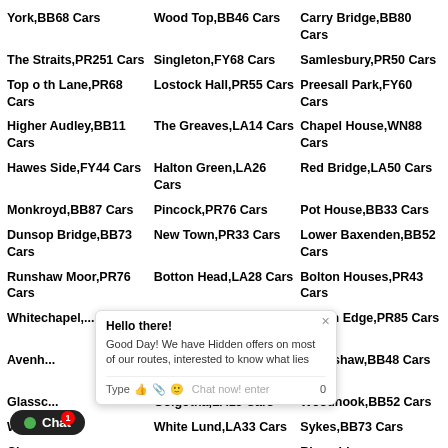York,BB68 Cars
Wood Top,BB46 Cars
Carry Bridge,BB80 Cars
The Straits,PR251 Cars
Singleton,FY68 Cars
Samlesbury,PR50 Cars
Top o th Lane,PR68 Cars
Lostock Hall,PR55 Cars
Preesall Park,FY60 Cars
Higher Audley,BB11 Cars
The Greaves,LA14 Cars
Chapel House,WN88 Cars
Hawes Side,FY44 Cars
Halton Green,LA26 Cars
Red Bridge,LA50 Cars
Monkroyd,BB87 Cars
Pincock,PR76 Cars
Pot House,BB33 Cars
Dunsop Bridge,BB73 Cars
New Town,PR33 Cars
Lower Baxenden,BB52 Cars
Runshaw Moor,PR76 Cars
Botton Head,LA28 Cars
Bolton Houses,PR43 Cars
Whitechapel,... Cars
Breedy Butts,FY67 Cars
Brown Edge,PR85 Cars
Aughton Park,L394 Cars
Goodshaw,BB48 Cars
Glasson... Cars
Golgotha,LA13 Cars
Woodnook,BB52 Cars
Willacy... Cars
White Lund,LA33 Cars
Sykes,BB73 Cars
Riverside Docklands,PR2...
Elswick,PR43 Cars
Inglewhite,LA39 Cars